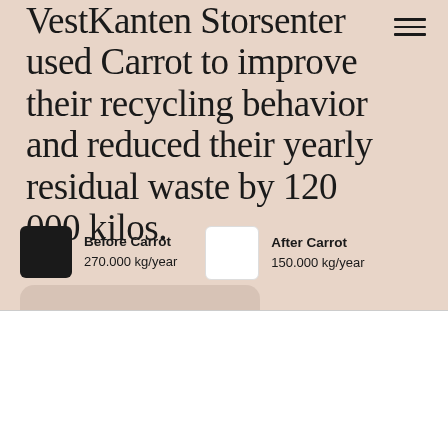VestKanten Storsenter used Carrot to improve their recycling behavior and reduced their yearly residual waste by 120 000 kilos.
Before Carrot 270.000 kg/year
After Carrot 150.000 kg/year
We use cookies on our website to give you the best possible experience.
Learn more
I accept